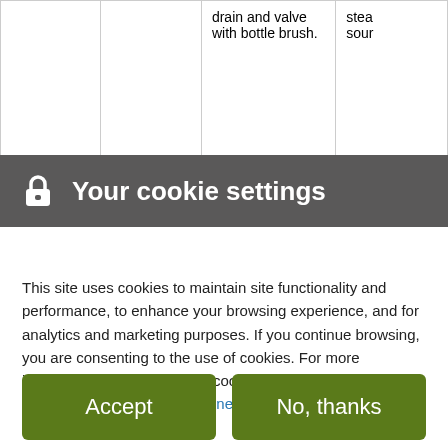|  |  | drain and valve with bottle brush. | stea sour |
| Filti... | ...t for f... | ...li... | ...t... |
Your cookie settings
This site uses cookies to maintain site functionality and performance, to enhance your browsing experience, and for analytics and marketing purposes. If you continue browsing, you are consenting to the use of cookies. For more information about our use of cookies and our online privacy practices, please see our online privacy statement and visit our privacy center.